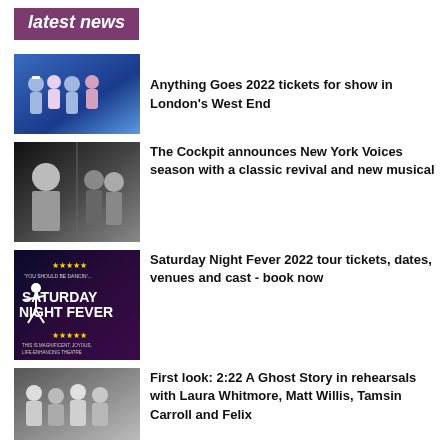latest news
[Figure (photo): Promotional photo of Anything Goes musical cast in sailor/formal costumes on blue background]
Anything Goes 2022 tickets for show in London's West End
[Figure (photo): Black and white split image: woman on left, man and woman singing on right for The Cockpit New York Voices season]
The Cockpit announces New York Voices season with a classic revival and new musical
[Figure (photo): Saturday Night Fever promotional poster with disco dancer in white suit and star ratings]
Saturday Night Fever 2022 tour tickets, dates, venues and cast - book now
[Figure (photo): Rehearsal photo of 2:22 A Ghost Story cast including Laura Whitmore, Matt Willis, Tamsin Carroll and Felix]
First look: 2:22 A Ghost Story in rehearsals with Laura Whitmore, Matt Willis, Tamsin Carroll and Felix